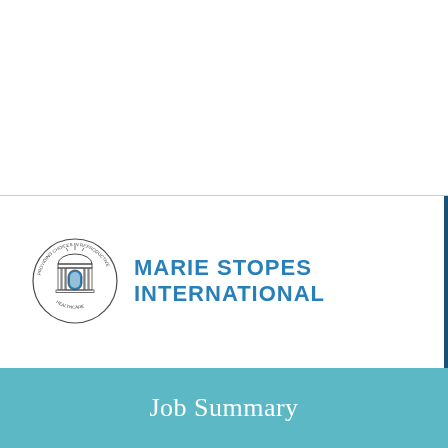[Figure (logo): Marie Stopes International logo with circular emblem and text]
Job Summary